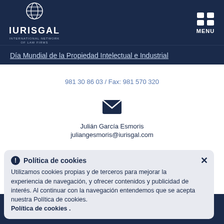[Figure (logo): IURISGAL International Network of Law Firms logo with globe icon]
[Figure (other): Menu icon (grid of 4 squares) with MENU label]
Día Mundial de la Propiedad Intelectual e Industrial
981 30 86 03 / Fax: 981 570 320
[Figure (other): Envelope icon (email)]
Julián García Esmoris
juliangesmoris@iurisgal.com
[Figure (other): Lock/restricted access icon in dark circle]
RESTRICTED ACCESS
Política de cookies
Utilizamos cookies propias y de terceros para mejorar la experiencia de navegación, y ofrecer contenidos y publicidad de interés. Al continuar con la navegación entendemos que se acepta nuestra Política de cookies. Política de cookies .